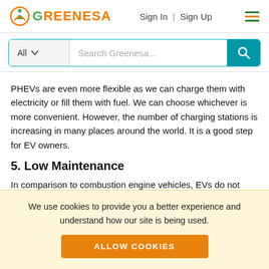GREENESA — Sign In | Sign Up
[Figure (screenshot): Search bar with 'All' dropdown and 'Search Greenesa...' placeholder and teal search button]
PHEVs are even more flexible as we can charge them with electricity or fill them with fuel. We can choose whichever is more convenient. However, the number of charging stations is increasing in many places around the world. It is a good step for EV owners.
5. Low Maintenance
In comparison to combustion engine vehicles, EVs do not
We use cookies to provide you a better experience and understand how our site is being used.
ALLOW COOKIES